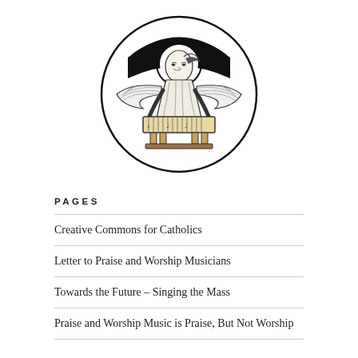[Figure (illustration): Black and white circular illustration of an angel with a halo holding and playing a musical instrument resembling a dulcimer or psaltery, with musical notation visible on the instrument.]
PAGES
Creative Commons for Catholics
Letter to Praise and Worship Musicians
Towards the Future – Singing the Mass
Praise and Worship Music is Praise, But Not Worship